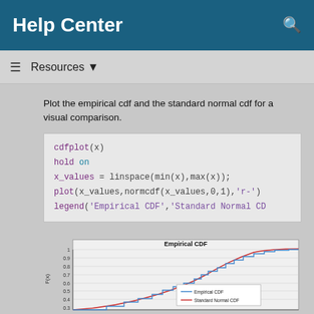Help Center
Resources ▼
Plot the empirical cdf and the standard normal cdf for a visual comparison.
cdfplot(x)
hold on
x_values = linspace(min(x),max(x));
plot(x_values,normcdf(x_values,0,1),'r-')
legend('Empirical CDF','Standard Normal CD
[Figure (continuous-plot): Empirical CDF plot showing a stepped blue line (Empirical CDF) and a smooth red curve (Standard Normal CDF). Y-axis labeled F(x) ranging from 0.3 to 1, with gridlines at 0.3, 0.4, 0.5, 0.6, 0.7, 0.8, 0.9, 1. Title: Empirical CDF. Legend shows Empirical CDF (blue) and Standard Normal CDF (red).]